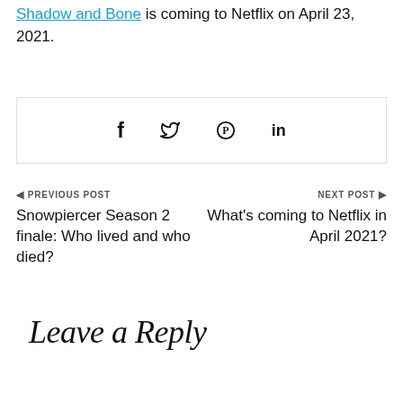Shadow and Bone is coming to Netflix on April 23, 2021.
[Figure (other): Social share bar with Facebook, Twitter, Pinterest, and LinkedIn icons inside a bordered box]
◄ PREVIOUS POST
Snowpiercer Season 2 finale: Who lived and who died?
NEXT POST ►
What's coming to Netflix in April 2021?
Leave a Reply